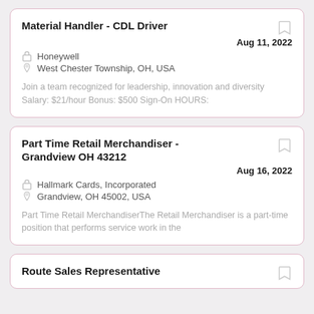Material Handler - CDL Driver
Aug 11, 2022
Honeywell
West Chester Township, OH, USA
Join a team recognized for leadership, innovation and diversity Salary: $21/hour Bonus: $500 Sign-On HOURS:
Part Time Retail Merchandiser - Grandview OH 43212
Aug 16, 2022
Hallmark Cards, Incorporated
Grandview, OH 45002, USA
Part Time Retail MerchandiserThe Retail Merchandiser is a part-time position that performs service work in the
Route Sales Representative